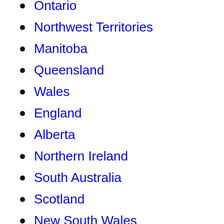Ontario
Northwest Territories
Manitoba
Queensland
Wales
England
Alberta
Northern Ireland
South Australia
Scotland
New South Wales
Victoria